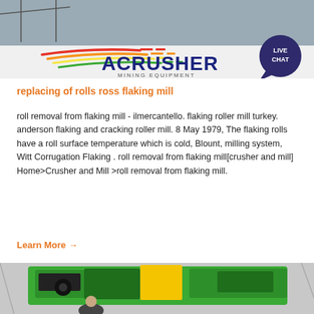[Figure (photo): ACRUSHER Mining Equipment logo banner with colorful swoosh lines and 'LIVE CHAT' bubble in top right corner, industrial background]
replacing of rolls ross flaking mill
roll removal from flaking mill - ilmercantello. flaking roller mill turkey. anderson flaking and cracking roller mill. 8 May 1979, The flaking rolls have a roll surface temperature which is cold, Blount, milling system, Witt Corrugation Flaking . roll removal from flaking mill[crusher and mill] Home>Crusher and Mill >roll removal from flaking mill.
Learn More →
[Figure (photo): Close-up photo of green industrial mining/crushing equipment machinery with a person visible in the foreground]